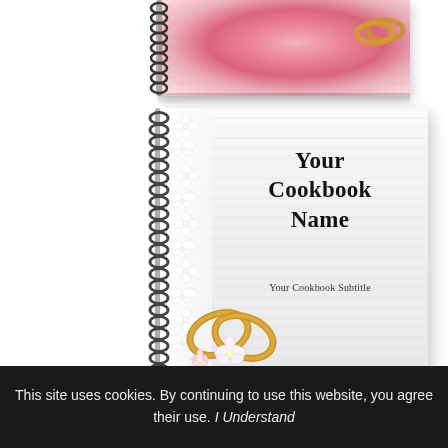[Figure (illustration): Top portion of a spiral-bound cookbook with pink rose/floral cover visible at top of page, partially cropped]
[Figure (illustration): Main spiral-bound cookbook with white textured cover, white floral/butterfly decoration strip on left spine, bold title text 'Your Cookbook Name', subtitle 'Your Cookbook Subtitle', and two interlinked gold heart rings with plumeria flowers at bottom left]
Your Cookbook Name
Your Cookbook Subtitle
This site uses cookies. By continuing to use this website, you agree their use. I Understand